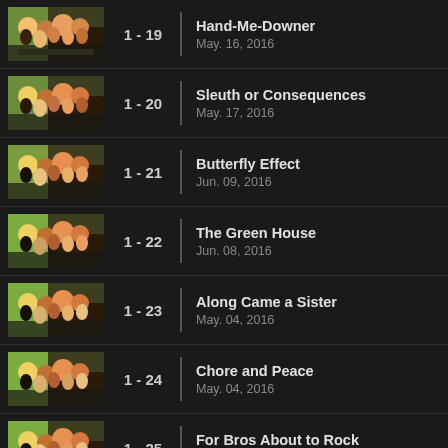1 - 19 | Hand-Me-Downer | May. 16, 2016
1 - 20 | Sleuth or Consequences | May. 17, 2016
1 - 21 | Butterfly Effect | Jun. 09, 2016
1 - 22 | The Green House | Jun. 08, 2016
1 - 23 | Along Came a Sister | May. 04, 2016
1 - 24 | Chore and Peace | May. 04, 2016
1 - 25 | For Bros About to Rock | Jun. 06, 2016